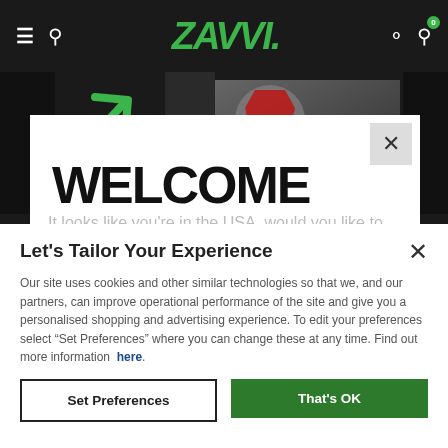[Figure (screenshot): Zavvi website navigation bar with hamburger menu, search icon, Zavvi logo in green italic, user icon, and cart icon with badge showing 0]
[Figure (screenshot): Background website showing a white welcome modal partially visible with 'WELCOME' heading and a banner image of Captain America, with a green arrow graphic]
Let's Tailor Your Experience
Our site uses cookies and other similar technologies so that we, and our partners, can improve operational performance of the site and give you a personalised shopping and advertising experience. To edit your preferences select "Set Preferences" where you can change these at any time. Find out more information here.
Set Preferences
That's OK